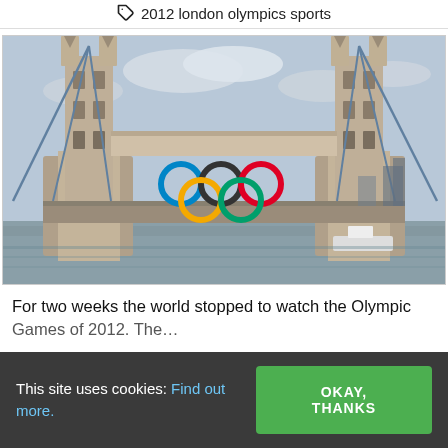2012 london olympics sports
[Figure (photo): London Tower Bridge with Olympic rings displayed between the towers, photographed from the River Thames during the 2012 London Olympics.]
For two weeks the world stopped to watch the Olympic Games of 2012. The…
This site uses cookies: Find out more.
OKAY, THANKS